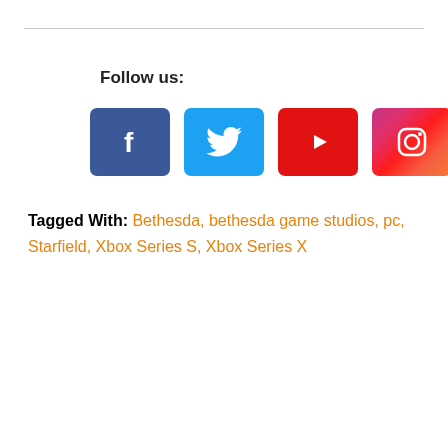Follow us:
[Figure (infographic): Four social media icon buttons: Facebook (blue), Twitter (light blue), YouTube (red), Instagram (pink/purple gradient)]
Tagged With: Bethesda, bethesda game studios, pc, Starfield, Xbox Series S, Xbox Series X